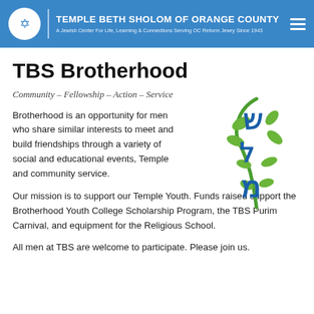TEMPLE BETH SHOLOM OF ORANGE COUNTY — A Jewish Center For Life, Learning & Connections Serving OC Reform Jewry Since 1943
TBS Brotherhood
Community – Fellowship – Action – Service
[Figure (logo): Hebrew letters with green plant/vine illustration — TBS Brotherhood logo]
Brotherhood is an opportunity for men who share similar interests to meet and build friendships through a variety of social and educational events, Temple and community service.
Our mission is to support our Temple Youth. Funds raised support the Brotherhood Youth College Scholarship Program, the TBS Purim Carnival, and equipment for the Religious School.
All men at TBS are welcome to participate. Please join us.